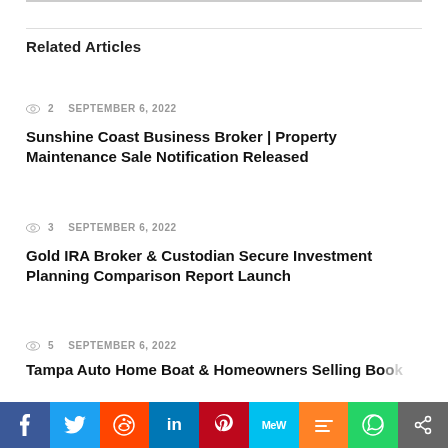Related Articles
👁 2   SEPTEMBER 6, 2022
Sunshine Coast Business Broker | Property Maintenance Sale Notification Released
👁 3   SEPTEMBER 6, 2022
Gold IRA Broker & Custodian Secure Investment Planning Comparison Report Launch
👁 5   SEPTEMBER 6, 2022
Tampa Auto Home Boat & Homeowners Selling Book...